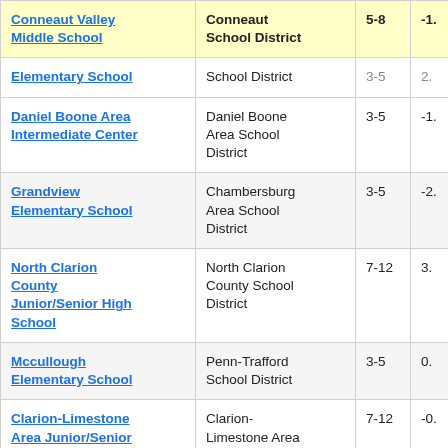| School | District | Grades | Score |
| --- | --- | --- | --- |
| Conneaut Valley Middle School | Conneaut School District | 5-8 | -1. |
| Elementary School | School District | 3-5 | 2. |
| Daniel Boone Area Intermediate Center | Daniel Boone Area School District | 3-5 | -1. |
| Grandview Elementary School | Chambersburg Area School District | 3-5 | -2. |
| North Clarion County Junior/Senior High School | North Clarion County School District | 7-12 | 3. |
| Mccullough Elementary School | Penn-Trafford School District | 3-5 | 0. |
| Clarion-Limestone Area Junior/Senior High School | Clarion-Limestone Area School District | 7-12 | -0. |